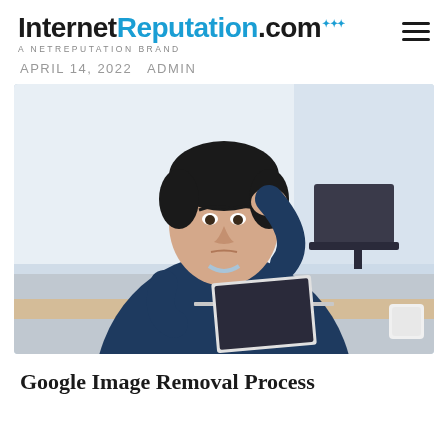InternetReputation.com — A NETREPUTATION BRAND
APRIL 14, 2022  ADMIN
[Figure (photo): Man in dark blue sweater sitting at a desk looking stressed, with his hand raised to his forehead, looking at a laptop in a bright office environment.]
Google Image Removal Process